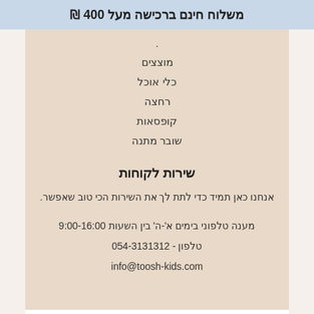משלוח חינם ברכישה מעל 400 ₪
·
מוצצים
כלי אוכל
רחצה
קופסאות
שובר מתנה
שירות לקוחות
אנחנו כאן תמיד כדי לתת לך את השירות הכי טוב שאפשר.
מענה טלפוני בימים א'-ה' בין השעות 9:00-16:00
טלפון - 054-3131312
info@toosh-kids.com